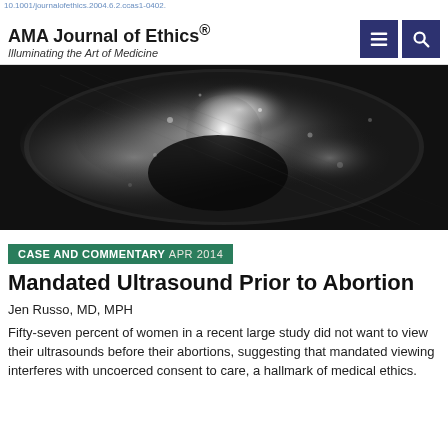10.1001/journalofethics.2004.6.2.ccas1-0402.
AMA Journal of Ethics® Illuminating the Art of Medicine
[Figure (photo): Black and white ultrasound image showing a fetus in the womb]
CASE AND COMMENTARY APR 2014
Mandated Ultrasound Prior to Abortion
Jen Russo, MD, MPH
Fifty-seven percent of women in a recent large study did not want to view their ultrasounds before their abortions, suggesting that mandated viewing interferes with uncoerced consent to care, a hallmark of medical ethics.